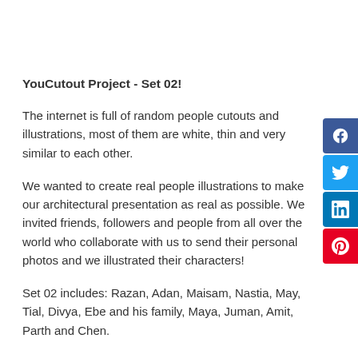YouCutout Project - Set 02!
The internet is full of random people cutouts and illustrations, most of them are white, thin and very similar to each other.
We wanted to create real people illustrations to make our architectural presentation as real as possible. We invited friends, followers and people from all over the world who collaborate with us to send their personal photos and we illustrated their characters!
Set 02 includes: Razan, Adan, Maisam, Nastia, May, Tial, Divya, Ebe and his family, Maya, Juman, Amit, Parth and Chen.